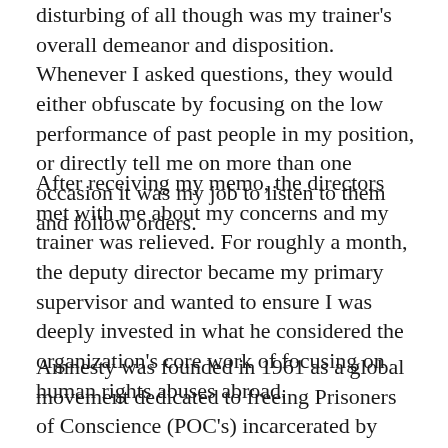disturbing of all though was my trainer's overall demeanor and disposition. Whenever I asked questions, they would either obfuscate by focusing on the low performance of past people in my position, or directly tell me on more than one occasion it was my job to listen to them and follow orders.
After receiving my memo, the directors met with me about my concerns and my trainer was relieved. For roughly a month, the deputy director became my primary supervisor and wanted to ensure I was deeply invested in what he considered the organization's core work of focusing on human rights abuses abroad.
Amnesty was founded in 1961 as a global movement dedicated to freeing Prisoners of Conscience (POC's) incarcerated by governments throughout the world. For decades, Amnesty also helped document and...